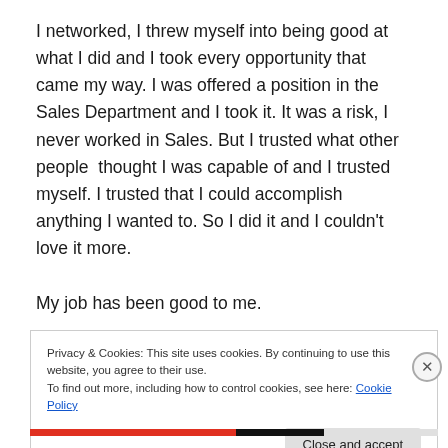I networked, I threw myself into being good at what I did and I took every opportunity that came my way. I was offered a position in the Sales Department and I took it. It was a risk, I never worked in Sales. But I trusted what other people  thought I was capable of and I trusted myself. I trusted that I could accomplish anything I wanted to. So I did it and I couldn't love it more.
My job has been good to me.
Privacy & Cookies: This site uses cookies. By continuing to use this website, you agree to their use.
To find out more, including how to control cookies, see here: Cookie Policy
Close and accept